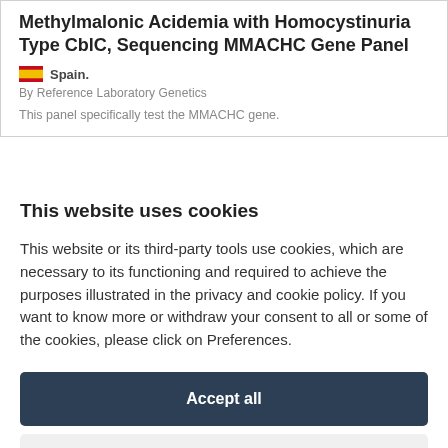Methylmalonic Acidemia with Homocystinuria Type CblC, Sequencing MMACHC Gene Panel
Spain.
By Reference Laboratory Genetics
This panel specifically test the MMACHC gene.
This website uses cookies
This website or its third-party tools use cookies, which are necessary to its functioning and required to achieve the purposes illustrated in the privacy and cookie policy. If you want to know more or withdraw your consent to all or some of the cookies, please click on Preferences.
Accept all
Preferences